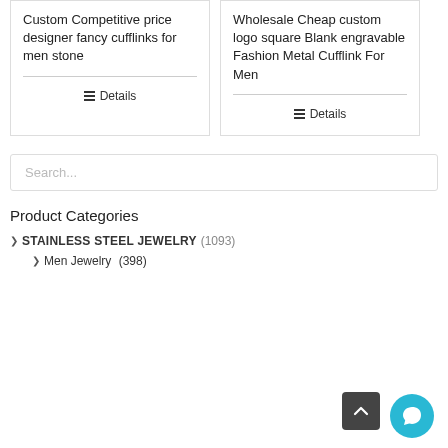Custom Competitive price designer fancy cufflinks for men stone
Details
Wholesale Cheap custom logo square Blank engravable Fashion Metal Cufflink For Men
Details
Search...
Product Categories
STAINLESS STEEL JEWELRY (1093)
Men Jewelry (398)